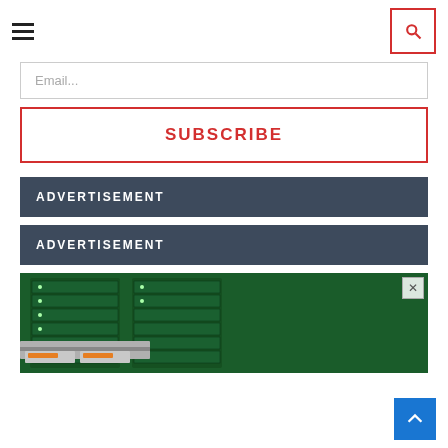Navigation header with hamburger menu and search button
Email...
SUBSCRIBE
ADVERTISEMENT
ADVERTISEMENT
[Figure (photo): Server rack hardware advertisement image showing green server chassis with hard drives and storage components]